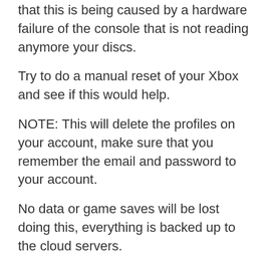that this is being caused by a hardware failure of the console that is not reading anymore your discs.
Try to do a manual reset of your Xbox and see if this would help.
NOTE: This will delete the profiles on your account, make sure that you remember the email and password to your account.
No data or game saves will be lost doing this, everything is backed up to the cloud servers.
- Unplug the network cable if you're using a wired network connection.